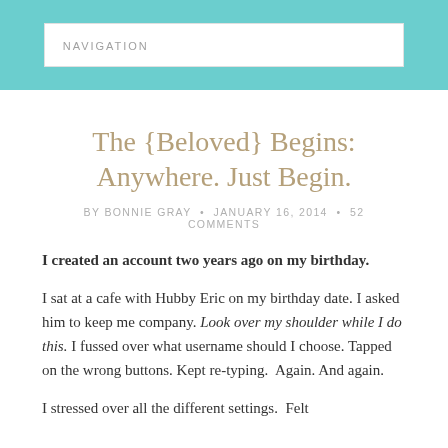NAVIGATION
The {Beloved} Begins: Anywhere. Just Begin.
BY BONNIE GRAY • JANUARY 16, 2014 • 52 COMMENTS
I created an account two years ago on my birthday.
I sat at a cafe with Hubby Eric on my birthday date. I asked him to keep me company. Look over my shoulder while I do this. I fussed over what username should I choose. Tapped on the wrong buttons. Kept re-typing.  Again. And again.
I stressed over all the different settings.  Felt